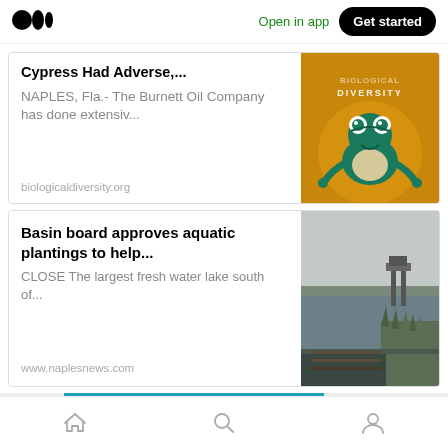Open in app | Get started
Cypress Had Adverse,...
NAPLES, Fla.- The Burnett Oil Company has done extensiv...
biologicaldiversity.org
[Figure (logo): Center for Biological Diversity logo with green frog on gold circle background]
Basin board approves aquatic plantings to help...
CLOSE The largest fresh water lake south of...
www.naplesnews.com
[Figure (photo): Photo of a large lake with a pier and grass in foreground under overcast sky]
Home | Search | Profile